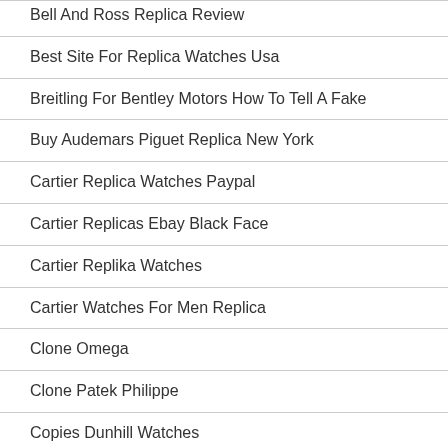Bell And Ross Replica Review
Best Site For Replica Watches Usa
Breitling For Bentley Motors How To Tell A Fake
Buy Audemars Piguet Replica New York
Cartier Replica Watches Paypal
Cartier Replicas Ebay Black Face
Cartier Replika Watches
Cartier Watches For Men Replica
Clone Omega
Clone Patek Philippe
Copies Dunhill Watches
Copy A Lange Sohne Watches